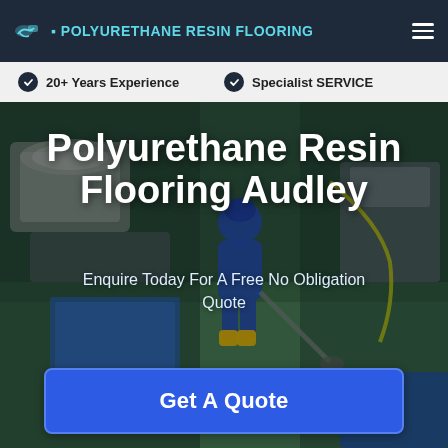POLYURETHANE RESIN FLOORING
20+ Years Experience   Specialist SERVICE
[Figure (photo): Industrial flooring scene showing a worker in blue protective suit and yellow boots working on a green resin floor surrounded by industrial equipment and machinery]
Polyurethane Resin Flooring Audley
Enquire Today For A Free No Obligation Quote
Get A Quote